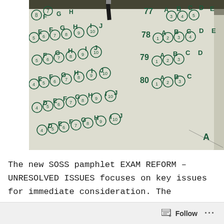[Figure (photo): Close-up photo of a standardized test answer sheet (scantron bubble sheet) with letters E, F, G, H, I, J and numbers 5-10 visible in bubbles, along with question numbers 77-80 and answer choices A, B, C, D on the right side. A pen or pencil is partially visible at the top.]
The new SOSS pamphlet EXAM REFORM – UNRESOLVED ISSUES focuses on key issues for immediate consideration. The underlying philosophy
Follow ...